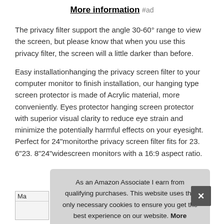More information #ad
The privacy filter support the angle 30-60° range to view the screen, but please know that when you use this privacy filter, the screen will a little darker than before.
Easy installationhanging the privacy screen filter to your computer monitor to finish installation, our hanging type screen protector is made of Acrylic material, more conveniently. Eyes protector hanging screen protector with superior visual clarity to reduce eye strain and minimize the potentially harmful effects on your eyesight. Perfect for 24"monitorthe privacy screen filter fits for 23. 6"23. 8"24"widescreen monitors with a 16:9 aspect ratio.
As an Amazon Associate I earn from qualifying purchases. This website uses the only necessary cookies to ensure you get the best experience on our website. More information